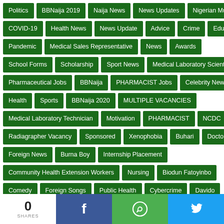Politics
BBNaija 2019
Naija News
News Updates
Nigerian Music
COVID-19
Health News
News Update
Advice
Crime
Education
Pandemic
Medical Sales Representative
News
Awards
School Forms
Scholarship
Sport News
Medical Laboratory Scientist
Pharmaceutical Jobs
BBNaija
PHARMACIST Jobs
Celebrity News
Health
Sports
BBNaija 2020
MULTIPLE VACANCIES
Medical Laboratory Technician
Motivation
PHARMACIST
NCDC
Radiagrapher Vacancy
Sponsored
Xenophobia
Buhari
Doctors
Foreign News
Burna Boy
Internship Placement
Community Health Extension Workers
Nursing
Biodun Fatoyinbo
Comedy
Foreign Songs
Public Health
Cybercrime
Davido
Doctor Gold
Post Basic Nursing Program
Biography
0 SHARES
f
WhatsApp
Twitter